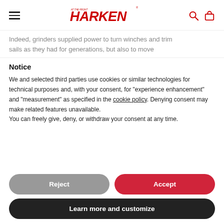HARKEN (navigation header with hamburger menu, logo, search and cart icons)
Indeed, grinders supplied power to turn winches and trim sails as they had for generations, but also to move
Notice
We and selected third parties use cookies or similar technologies for technical purposes and, with your consent, for “experience enhancement” and “measurement” as specified in the cookie policy. Denying consent may make related features unavailable.
You can freely give, deny, or withdraw your consent at any time.
Reject
Accept
Learn more and customize